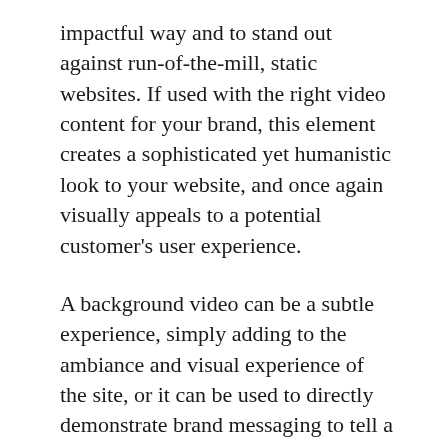impactful way and to stand out against run-of-the-mill, static websites. If used with the right video content for your brand, this element creates a sophisticated yet humanistic look to your website, and once again visually appeals to a potential customer's user experience.
A background video can be a subtle experience, simply adding to the ambiance and visual experience of the site, or it can be used to directly demonstrate brand messaging to tell a story. Sprinkling in impactful sentences in the homepage content, layered on top of the video, can also guide users through the video experience to give context and meaning to visuals.